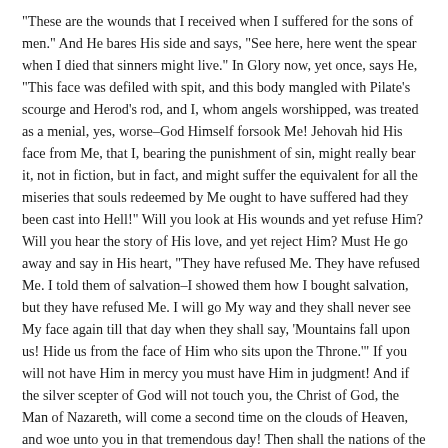“These are the wounds that I received when I suffered for the sons of men.” And He bares His side and says, “See here, here went the spear when I died that sinners might live.” In Glory now, yet once, says He, “This face was defiled with spit, and this body mangled with Pilate’s scourge and Herod’s rod, and I, whom angels worshipped, was treated as a menial, yes, worse–God Himself forsook Me! Jehovah hid His face from Me, that I, bearing the punishment of sin, might really bear it, not in fiction, but in fact, and might suffer the equivalent for all the miseries that souls redeemed by Me ought to have suffered had they been cast into Hell!” Will you look at His wounds and yet refuse Him? Will you hear the story of His love, and yet reject Him? Must He go away and say in His heart, “They have refused Me. They have refused Me. I told them of salvation–I showed them how I bought salvation, but they have refused Me. I will go My way and they shall never see My face again till that day when they shall say, ‘Mountains fall upon us! Hide us from the face of Him who sits upon the Throne.’” If you will not have Him in mercy you must have Him in judgment! And if the silver scepter of God will not touch you, the Christ of God, the Man of Nazareth, will come a second time on the clouds of Heaven, and woe unto you in that tremendous day! Then shall the nations of the earth weep and wail because of Him. They would not have Him as their Savior–so they must have Him as their Judge–and out of His mouth shall the sentence come, “Depart! Depart!”